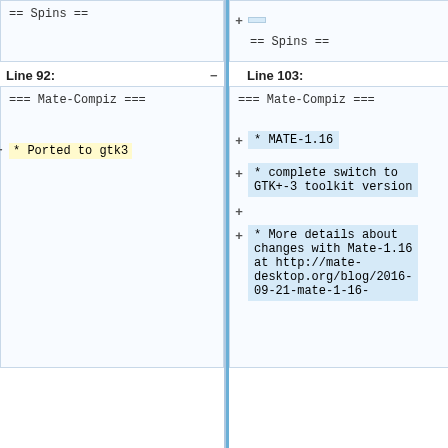[Figure (screenshot): Diff view showing two columns. Left column has == Spins == section header. Right column has == Spins == section header with a small added line (blue highlight) above it.]
Line 92:
Line 103:
[Figure (screenshot): Diff view showing two columns. Left column shows === Mate-Compiz === with a removed line '* Ported to gtk3' highlighted in yellow. Right column shows === Mate-Compiz === with added lines: '* MATE-1.16', '* complete switch to GTK+-3 toolkit version', and '* More details about changes with Mate-1.16 at http://mate-desktop.org/blog/2016-09-21-mate-1-16-' highlighted in blue.]